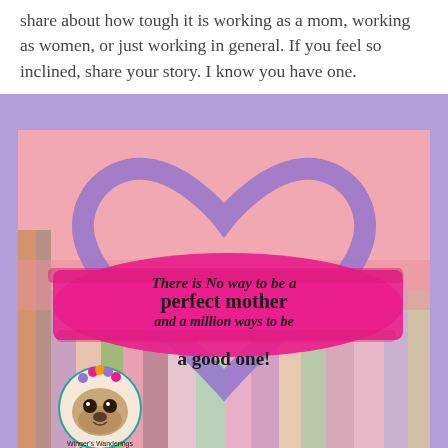share about how tough it is working as a mom, working as women, or just working in general. If you feel so inclined, share your story. I know you have one.
[Figure (illustration): Colorful illustration with a large purple heart outline on a pink background with multicolored vertical stripes. In the center is a hot pink brushstroke banner with the text: 'There is No way to be a perfect mother and a million ways to be a good one!' in black handwritten-style font. In the lower left is a circular logo with a pug dog wearing a flower crown, with text 'Winger's Wanderings' around it.]